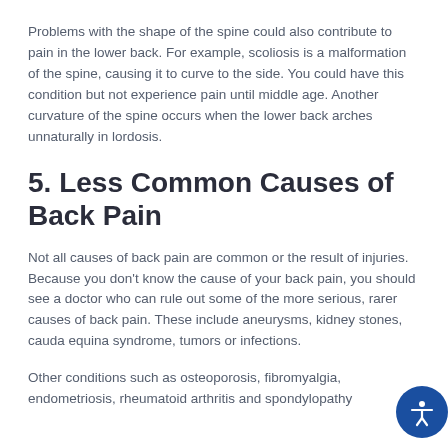Problems with the shape of the spine could also contribute to pain in the lower back. For example, scoliosis is a malformation of the spine, causing it to curve to the side. You could have this condition but not experience pain until middle age. Another curvature of the spine occurs when the lower back arches unnaturally in lordosis.
5. Less Common Causes of Back Pain
Not all causes of back pain are common or the result of injuries. Because you don't know the cause of your back pain, you should see a doctor who can rule out some of the more serious, rarer causes of back pain. These include aneurysms, kidney stones, cauda equina syndrome, tumors or infections.
Other conditions such as osteoporosis, fibromyalgia, endometriosis, rheumatoid arthritis and spondylopathy